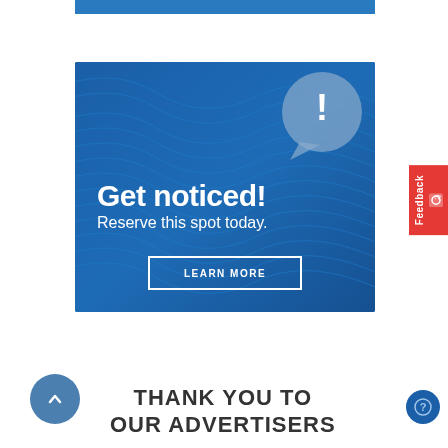[Figure (illustration): Blue horizontal bar at the top of the page]
[Figure (illustration): Advertisement banner with blue gradient wavy background, speech bubble with exclamation mark icon, large text 'Get noticed! Reserve this spot today.' and a 'LEARN MORE' button]
THANK YOU TO OUR ADVERTISERS